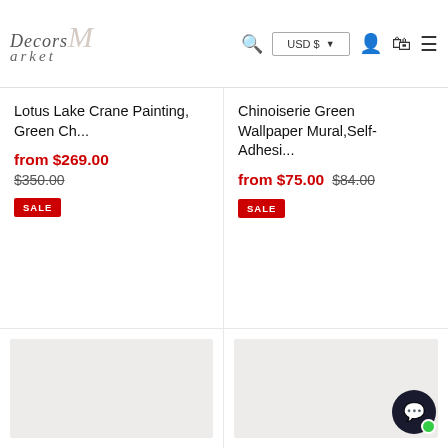Decors Market — USD $ — Search, Account, Cart, Menu
Lotus Lake Crane Painting, Green Ch...
from $269.00
$350.00
SALE
Chinoiserie Green Wallpaper Mural,Self-Adhesi...
from $75.00  $84.00
SALE
[Figure (photo): Product thumbnail placeholder (light gray box)]
[Figure (photo): Product thumbnail placeholder (light gray box)]